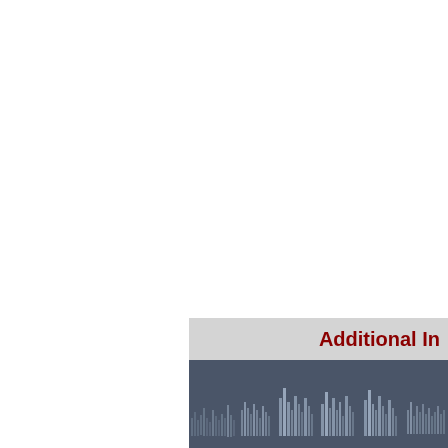Additional In
[Figure (other): Dark blue-grey background section with a subtle waveform or bar chart pattern rendered in slightly lighter grey tones, representing an additional information section divider graphic.]